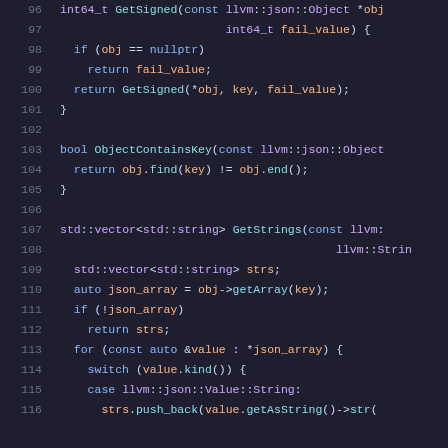[Figure (screenshot): Source code screenshot showing C++ code lines 96-116 with syntax highlighting on a dark background. Functions include GetSigned, ObjectContainsKey, and GetStrings with llvm::json types.]